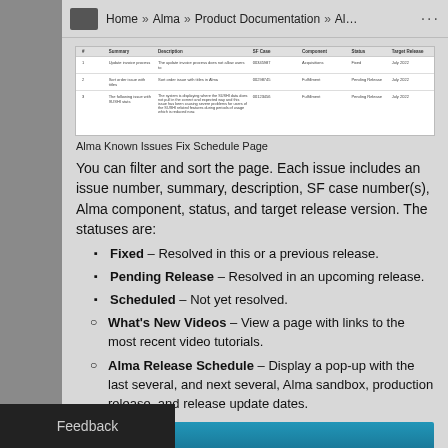Home » Alma » Product Documentation » Al…
[Figure (table-as-image): Partial screenshot of Alma Known Issues Fix Schedule table showing rows with issue columns]
Alma Known Issues Fix Schedule Page
You can filter and sort the page. Each issue includes an issue number, summary, description, SF case number(s), Alma component, status, and target release version. The statuses are:
Fixed – Resolved in this or a previous release.
Pending Release – Resolved in an upcoming release.
Scheduled – Not yet resolved.
What's New Videos – View a page with links to the most recent video tutorials.
Alma Release Schedule – Display a pop-up with the last several, and next several, Alma sandbox, production release, and release update dates.
[Figure (screenshot): Bottom teal/blue banner image partially visible]